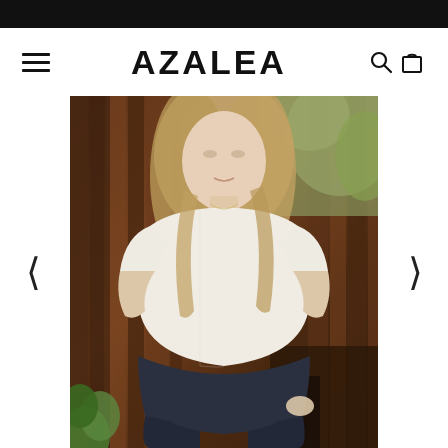AZALEA
[Figure (photo): A woman with long blonde hair wearing a loose white/cream short-sleeve top and dark navy shorts, photographed outdoors against a dark wood paneled background with green foliage. Fashion lookbook style product photography for the Azalea brand.]